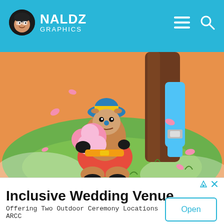NALDZ GRAPHICS
[Figure (illustration): Anime-style illustration of a small character (Tony Tony Chopper from One Piece) sitting on grass, leaning against a tree, with pink flower petals falling around. Another character's legs visible in the background.]
[Figure (other): Scroll-down chevron button (v) in a rounded rectangle]
Inclusive Wedding Venue
Offering Two Outdoor Ceremony Locations
ARCC